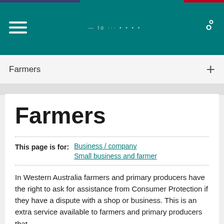Farmers
Farmers
This page is for: Business / company Small business and farmer
In Western Australia farmers and primary producers have the right to ask for assistance from Consumer Protection if they have a dispute with a shop or business. This is an extra service available to farmers and primary producers that is not available to the general...